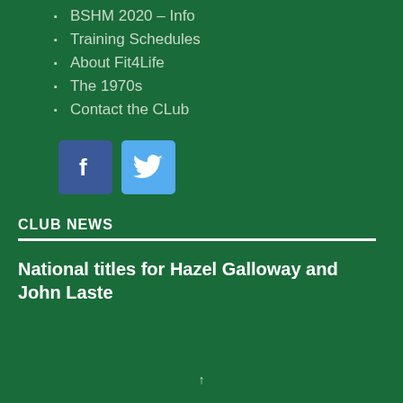BSHM 2020 – Info
Training Schedules
About Fit4Life
The 1970s
Contact the CLub
[Figure (logo): Facebook icon button (dark blue square with white 'f') and Twitter icon button (light blue square with white bird logo)]
CLUB NEWS
National titles for Hazel Galloway and John Laste